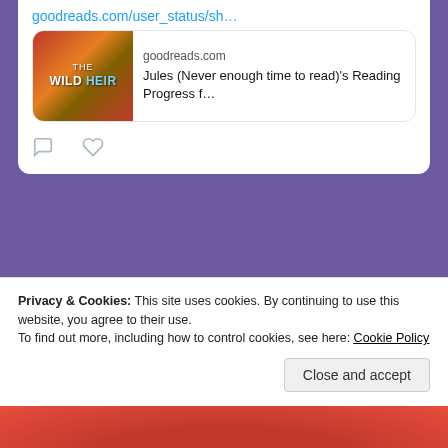goodreads.com/user_status/sh…
[Figure (screenshot): Goodreads link preview card showing book cover for 'The Wild Heir' with text: goodreads.com — Jules (Never enough time to read)'s Reading Progress f…]
[Figure (other): Tweet action icons: comment bubble and heart/like icon]
[Figure (screenshot): Twitter embed box with 'View more on Twitter' blue button and 'Learn more about privacy on Twitter' text with info icon]
Privacy & Cookies: This site uses cookies. By continuing to use this website, you agree to their use.
To find out more, including how to control cookies, see here: Cookie Policy
Close and accept